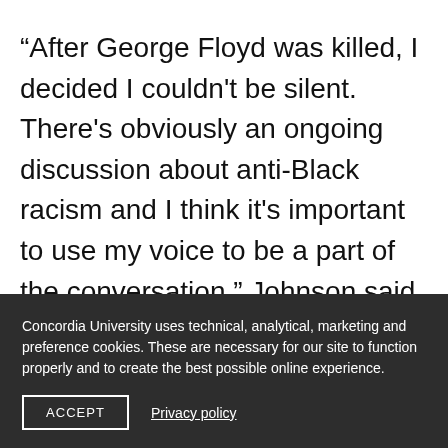“After George Floyd was killed, I decided I couldn't be silent. There's obviously an ongoing discussion about anti-Black racism and I think it's important to use my voice to be a part of the conversation,” Johnson said.

“As a public figure, I’m in a position of privilege in the sense that I have a platform and I can
Concordia University uses technical, analytical, marketing and preference cookies. These are necessary for our site to function properly and to create the best possible online experience.
ACCEPT
Privacy policy